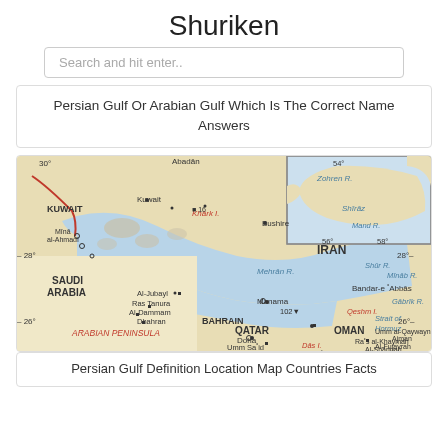Shuriken
Search and hit enter..
Persian Gulf Or Arabian Gulf Which Is The Correct Name Answers
[Figure (map): Map of the Persian Gulf region showing Kuwait, Saudi Arabia, Bahrain, Qatar, Iran, Oman, UAE and surrounding areas with geographic labels including rivers, cities, and bodies of water. Includes a small inset map in the upper right corner.]
Persian Gulf Definition Location Map Countries Facts